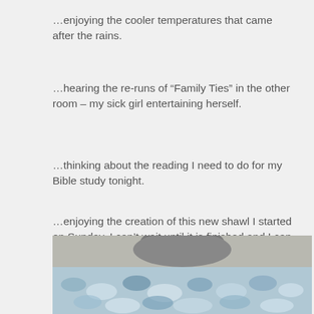…enjoying the cooler temperatures that came after the rains.
…hearing the re-runs of “Family Ties” in the other room – my sick girl entertaining herself.
…thinking about the reading I need to do for my Bible study tonight.
…enjoying the creation of this new shawl I started on Sunday. I can’t wait until it is finished and I can wear it.
[Figure (photo): A close-up photo of a blue and white textured knitted or crocheted shawl, with a blurred background showing someone wearing it.]